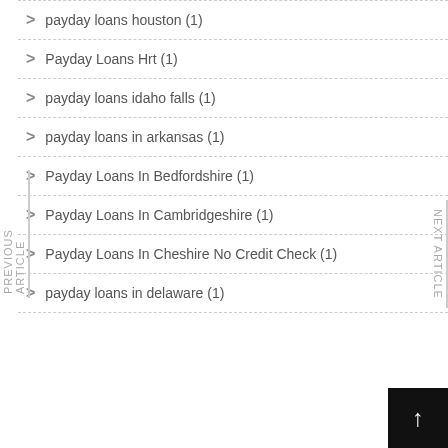payday loans houston (1)
Payday Loans Hrt (1)
payday loans idaho falls (1)
payday loans in arkansas (1)
Payday Loans In Bedfordshire (1)
Payday Loans In Cambridgeshire (1)
Payday Loans In Cheshire No Credit Check (1)
payday loans in delaware (1)